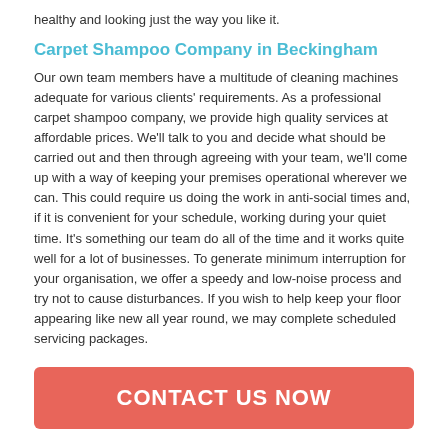healthy and looking just the way you like it.
Carpet Shampoo Company in Beckingham
Our own team members have a multitude of cleaning machines adequate for various clients' requirements. As a professional carpet shampoo company, we provide high quality services at affordable prices. We'll talk to you and decide what should be carried out and then through agreeing with your team, we'll come up with a way of keeping your premises operational wherever we can. This could require us doing the work in anti-social times and, if it is convenient for your schedule, working during your quiet time. It's something our team do all of the time and it works quite well for a lot of businesses. To generate minimum interruption for your organisation, we offer a speedy and low-noise process and try not to cause disturbances. If you wish to help keep your floor appearing like new all year round, we may complete scheduled servicing packages.
CONTACT US NOW